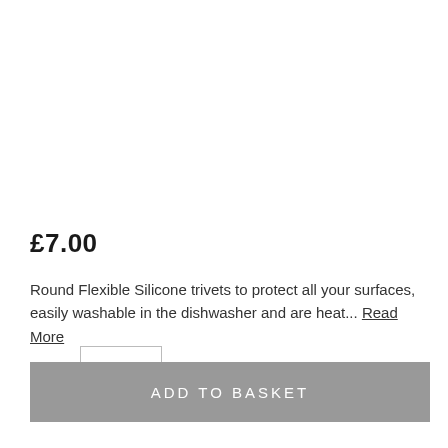£7.00
Round Flexible Silicone trivets to protect all your surfaces, easily washable in the dishwasher and are heat... Read More
QTY  1
ADD TO BASKET